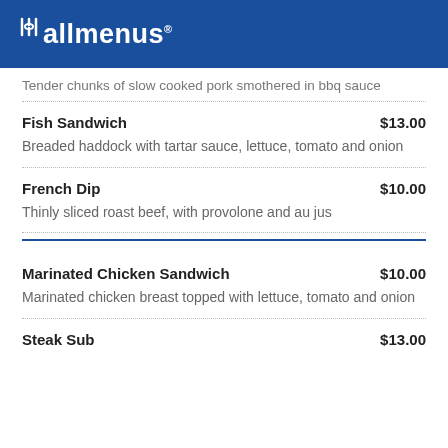allmenus
Tender chunks of slow cooked pork smothered in bbq sauce
Fish Sandwich $13.00 — Breaded haddock with tartar sauce, lettuce, tomato and onion
French Dip $10.00 — Thinly sliced roast beef, with provolone and au jus
Marinated Chicken Sandwich $10.00 — Marinated chicken breast topped with lettuce, tomato and onion
Steak Sub $13.00